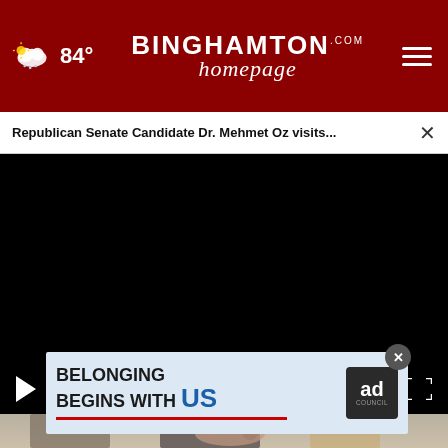84° | Binghamton Homepage | navigation menu
Republican Senate Candidate Dr. Mehmet Oz visits...
[Figure (screenshot): Black video player area with play and mute controls at bottom left and fullscreen icon at bottom right]
[Figure (photo): Two people shaking hands, partially visible at bottom of page]
[Figure (infographic): Ad Council advertisement: BELONGING BEGINS WITH US, with ad council badge logo]